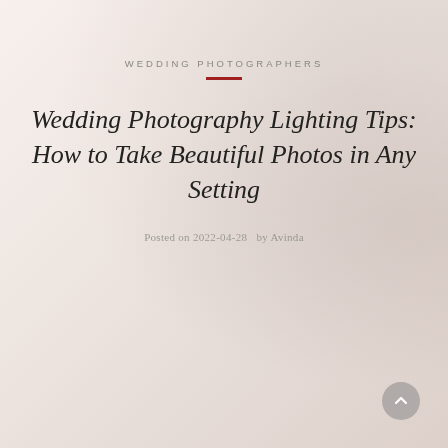WEDDING PHOTOGRAPHERS
Wedding Photography Lighting Tips: How to Take Beautiful Photos in Any Setting
Posted on 2022-04-28  by Avinda